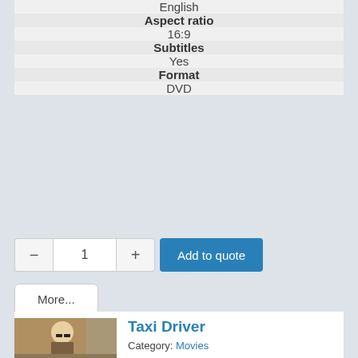| Aspect ratio |
| 16:9 |
| Subtitles |
| Yes |
| Format |
| DVD |
− 1 + Add to quote
More...
Taxi Driver
Category: Movies
Manufacturer: Movie producer
Created by: Super User